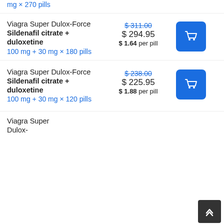mg × 270 pills
Viagra Super Dulox-Force Sildenafil citrate + duloxetine 100 mg + 30 mg × 180 pills — $311.00 / $294.95 / $1.64 per pill
Viagra Super Dulox-Force Sildenafil citrate + duloxetine 100 mg + 30 mg × 120 pills — $238.00 / $225.95 / $1.88 per pill
Viagra Super Dulox-